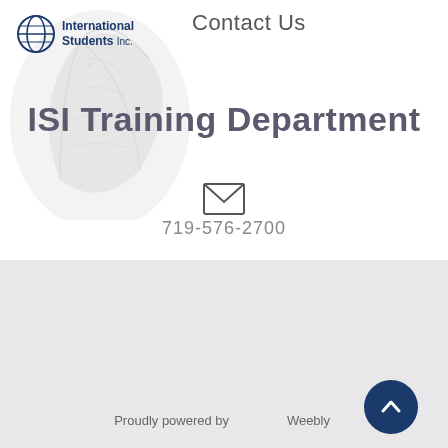[Figure (logo): International Students Inc. logo with globe icon and ivy leaf background]
Contact Us
ISI Training Department
[Figure (illustration): Email/envelope icon]
719-576-2700
Proudly powered by Weebly